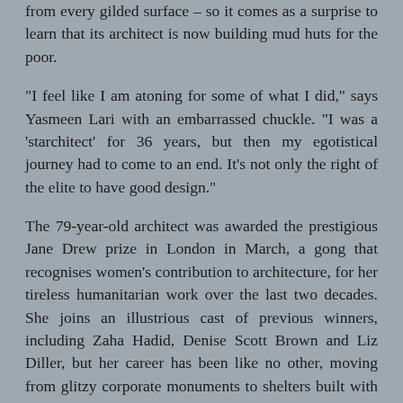from every gilded surface – so it comes as a surprise to learn that its architect is now building mud huts for the poor.
“I feel like I am atoning for some of what I did,” says Yasmeen Lari with an embarrassed chuckle. “I was a ‘starchitect’ for 36 years, but then my egotistical journey had to come to an end. It’s not only the right of the elite to have good design.”
The 79-year-old architect was awarded the prestigious Jane Drew prize in London in March, a gong that recognises women's contribution to architecture, for her tireless humanitarian work over the last two decades. She joins an illustrious cast of previous winners, including Zaha Hadid, Denise Scott Brown and Liz Diller, but her career has been like no other, moving from glitzy corporate monuments to shelters built with the barest minimum of means.
-------------
While international aid agencies busied themselves erecting costly prefab housing with concrete and galvanised iron sheets, Lari worked with dispossessed